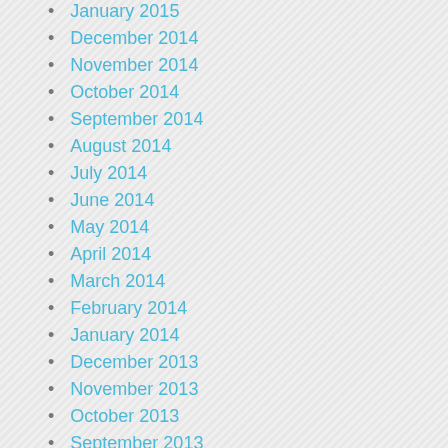January 2015
December 2014
November 2014
October 2014
September 2014
August 2014
July 2014
June 2014
May 2014
April 2014
March 2014
February 2014
January 2014
December 2013
November 2013
October 2013
September 2013
August 2013
July 2013
June 2013